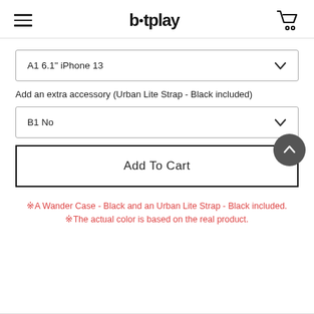bitplay
A1 6.1" iPhone 13
Add an extra accessory (Urban Lite Strap - Black included)
B1 No
Add To Cart
※A Wander Case - Black and an Urban Lite Strap - Black included.
※The actual color is based on the real product.